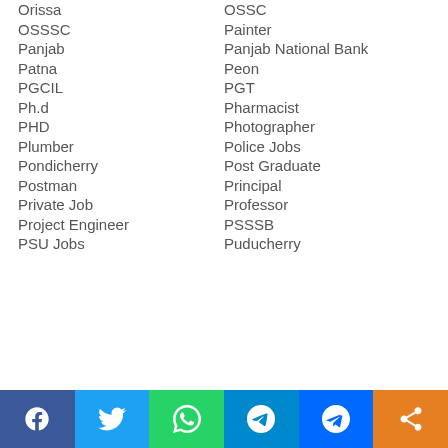Orissa
OSSC
OSSSC
Painter
Panjab
Panjab National Bank
Patna
Peon
PGCIL
PGT
Ph.d
Pharmacist
PHD
Photographer
Plumber
Police Jobs
Pondicherry
Post Graduate
Postman
Principal
Private Job
Professor
Project Engineer
PSSSB
PSU Jobs
Puducherry